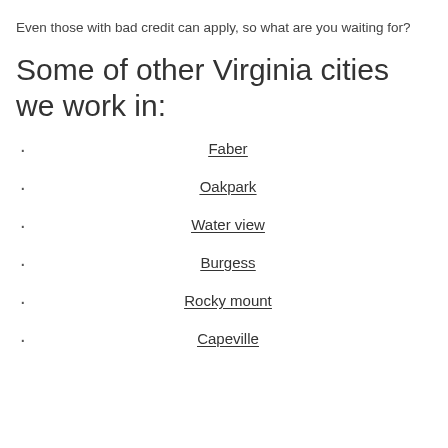Even those with bad credit can apply, so what are you waiting for?
Some of other Virginia cities we work in:
Faber
Oakpark
Water view
Burgess
Rocky mount
Capeville